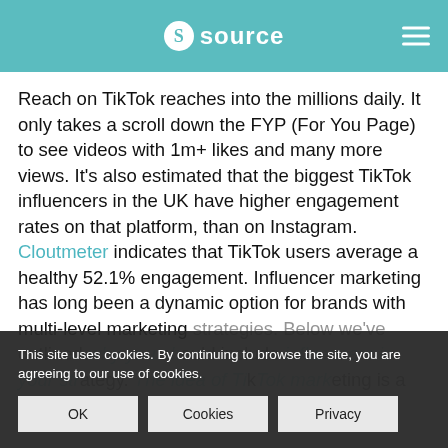source
Reach on TikTok reaches into the millions daily. It only takes a scroll down the FYP (For You Page) to see videos with 1m+ likes and many more views. It's also estimated that the biggest TikTok influencers in the UK have higher engagement rates on that platform, than on Instagram. Cloutmeter indicates that TikTok users average a healthy 52.1% engagement. Influencer marketing has long been a dynamic option for brands with multi-level marketing strategies. Below we've outlined why you should include influencers in your strategy. The idea of TikTok marketing is a relatively new one, but one well worth
This site uses cookies. By continuing to browse the site, you are agreeing to our use of cookies.